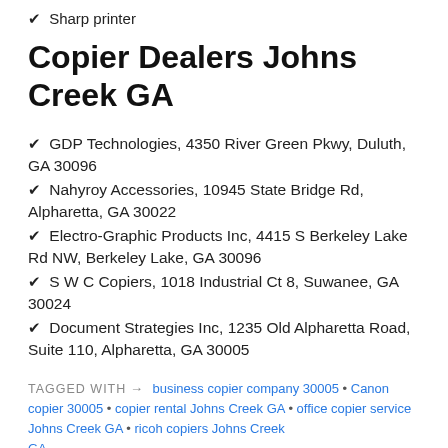✔ Sharp printer
Copier Dealers Johns Creek GA
✔ GDP Technologies, 4350 River Green Pkwy, Duluth, GA 30096
✔ Nahyroy Accessories, 10945 State Bridge Rd, Alpharetta, GA 30022
✔ Electro-Graphic Products Inc, 4415 S Berkeley Lake Rd NW, Berkeley Lake, GA 30096
✔ S W C Copiers, 1018 Industrial Ct 8, Suwanee, GA 30024
✔ Document Strategies Inc, 1235 Old Alpharetta Road, Suite 110, Alpharetta, GA 30005
TAGGED WITH → business copier company 30005 • Canon copier 30005 • copier rental Johns Creek GA • office copier service Johns Creek GA • ricoh copiers Johns Creek GA